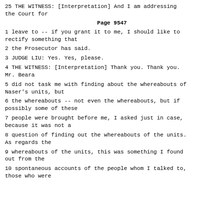25 THE WITNESS: [Interpretation] And I am addressing the Court for
Page 9547
1 leave to -- if you grant it to me, I should like to rectify something that
2 the Prosecutor has said.
3 JUDGE LIU: Yes. Yes, please.
4 THE WITNESS: [Interpretation] Thank you. Thank you. Mr. Beara
5 did not task me with finding about the whereabouts of Naser's units, but
6 the whereabouts -- not even the whereabouts, but if possibly some of these
7 people were brought before me, I asked just in case, because it was not a
8 question of finding out the whereabouts of the units. As regards the
9 whereabouts of the units, this was something I found out from the
10 spontaneous accounts of the people whom I talked to, those who were